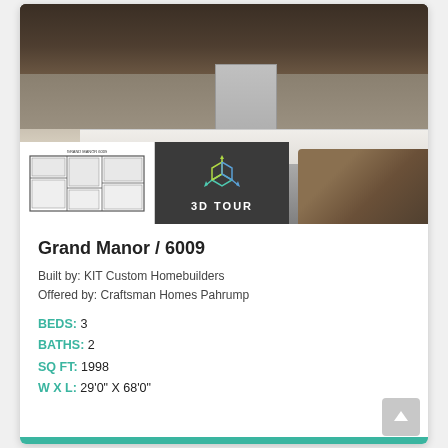[Figure (photo): Kitchen interior photo with dark wood cabinets, stone backsplash, large white island countertop, stainless steel refrigerator, and woven bar stools. Overlaid with a floor plan thumbnail and a 3D Tour button.]
Grand Manor / 6009
Built by: KIT Custom Homebuilders
Offered by: Craftsman Homes Pahrump
BEDS: 3
BATHS: 2
SQ FT: 1998
W X L: 29'0" X 68'0"